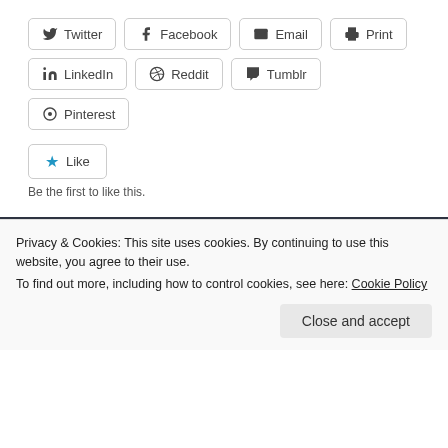Twitter
Facebook
Email
Print
LinkedIn
Reddit
Tumblr
Pinterest
Like
Be the first to like this.
RECENT POSTS
The Goldfinch by Donna Tart: a very long, but engrossing book about a lost boy and a small painting (August 10, 2022)
Privacy & Cookies: This site uses cookies. By continuing to use this website, you agree to their use.
To find out more, including how to control cookies, see here: Cookie Policy
Close and accept